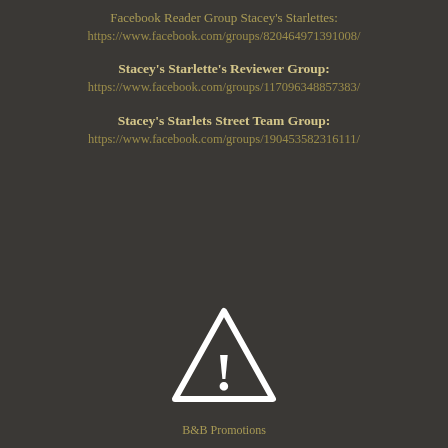Facebook Reader Group Stacey's Starlettes:
https://www.facebook.com/groups/820464971391008/
Stacey's Starlette's Reviewer Group:
https://www.facebook.com/groups/117096348857383/
Stacey's Starlets Street Team Group:
https://www.facebook.com/groups/190453582316111/
[Figure (illustration): Warning/exclamation mark triangle icon in white on dark background]
B&B Promotions